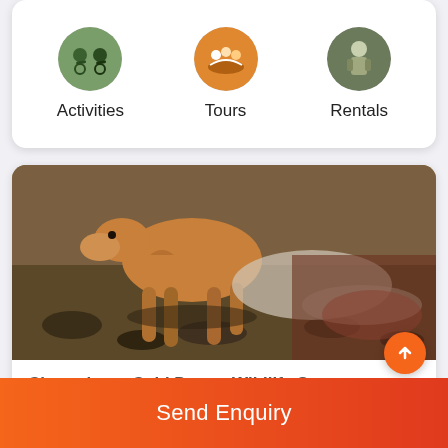[Figure (other): Navigation row with three circular icons: Activities (cyclists), Tours (people rafting), Rentals (person with gear)]
Activities
Tours
Rentals
[Figure (photo): Close-up photo of a wild animal (deer/antelope) walking on rocky terrain, Changthang Cold Desert Wildlife Sanctuary]
Changthang Cold Desert Wildlife Sanctuary
[Figure (photo): Landscape photo showing dramatic sky with dark blue clouds and mountains in background, high-altitude terrain]
Send Enquiry